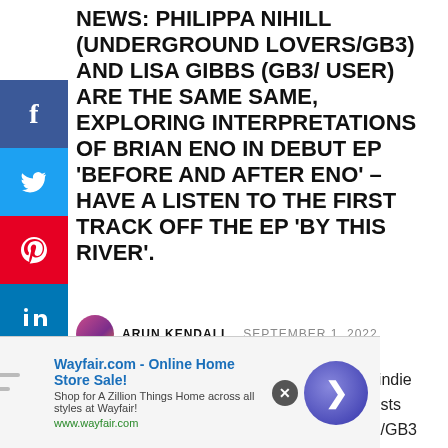NEWS: PHILIPPA NIHILL (UNDERGROUND LOVERS/GB3) AND LISA GIBBS (GB3/ USER) ARE THE SAME SAME, EXPLORING INTERPRETATIONS OF BRIAN ENO IN DEBUT EP 'BEFORE AND AFTER ENO' – HAVE A LISTEN TO THE FIRST TRACK OFF THE EP 'BY THIS RIVER'.
ARUN KENDALL  SEPTEMBER 1, 2022
The Same Same consist of two giants in the indie music scene in Australia: multi instrumentalists Philippa Nihill from the Underground Lovers/GB3 and Lisa Gibbs from USER/GB3, and their weapons of choice are keys, synths and vocals wielded with haunting finesse and subtlety. The
[Figure (other): Advertisement banner for Wayfair.com - Online Home Store Sale! with logo, text, close button and arrow circle button]